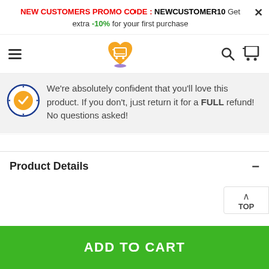NEW CUSTOMERS PROMO CODE : NEWCUSTOMER10 Get extra -10% for your first purchase
[Figure (logo): E-commerce website navigation bar with hamburger menu, orange heart-shaped shopping cart logo, search icon, and cart icon]
We're absolutely confident that you'll love this product. If you don't, just return it for a FULL refund! No questions asked!
Product Details
ADD TO CART